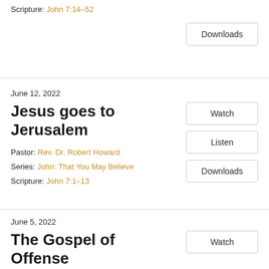Scripture: John 7:14–52
Downloads
June 12, 2022
Jesus goes to Jerusalem
Pastor: Rev. Dr. Robert Howard
Series: John: That You May Believe
Scripture: John 7:1–13
Watch
Listen
Downloads
June 5, 2022
The Gospel of Offense
Watch